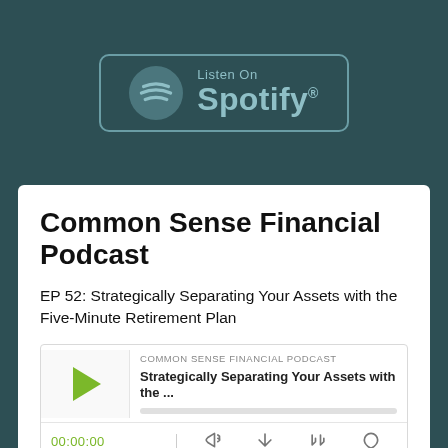[Figure (logo): Listen On Spotify badge with teal border and Spotify logo icon on dark teal background]
Common Sense Financial Podcast
EP 52: Strategically Separating Your Assets with the Five-Minute Retirement Plan
[Figure (screenshot): Embedded podcast player showing: COMMON SENSE FINANCIAL PODCAST label, episode title 'Strategically Separating Your Assets with the ...', play button, progress bar, time 00:00:00, and control icons]